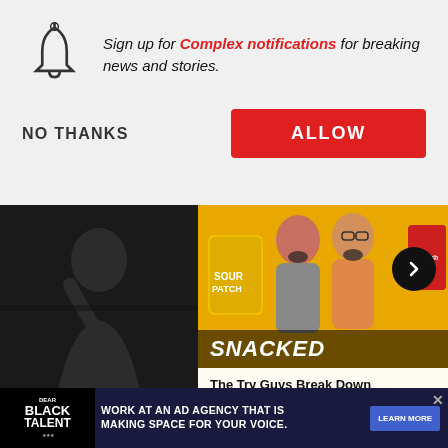Sign up for Complex notifications for breaking news and stories.
NO THANKS
ALLOW
[Figure (screenshot): Dark photo of a person on the left, and a colorful 'SNACKED' YouTube thumbnail with three men and candy bags on the right. A right-arrow navigation button is visible.]
The Try Guys Break Down TheirFavorite Snacks| Snacked
[Figure (infographic): Advertisement banner reading DEAR BLACK TALENT - WORK AT AN AD AGENCY THAT IS MAKING SPACE FOR YOUR VOICE. LEARN MORE]